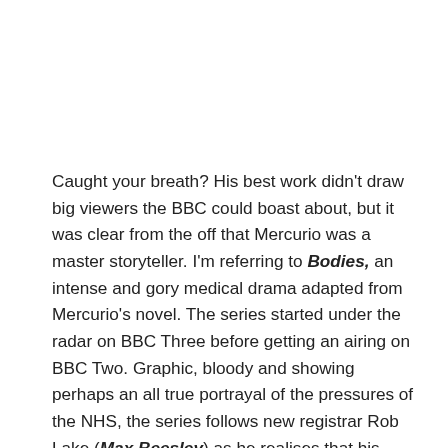Caught your breath? His best work didn't draw big viewers the BBC could boast about, but it was clear from the off that Mercurio was a master storyteller. I'm referring to Bodies, an intense and gory medical drama adapted from Mercurio's novel. The series started under the radar on BBC Three before getting an airing on BBC Two. Graphic, bloody and showing perhaps an all true portrayal of the pressures of the NHS, the series follows new registrar Rob Lake (Max Beesley) as he realises that his consultant Roger Hurley (Patrick Baladi) is a dangerously incompetent surgeon with a high patient-mortality rate who is retained only because his